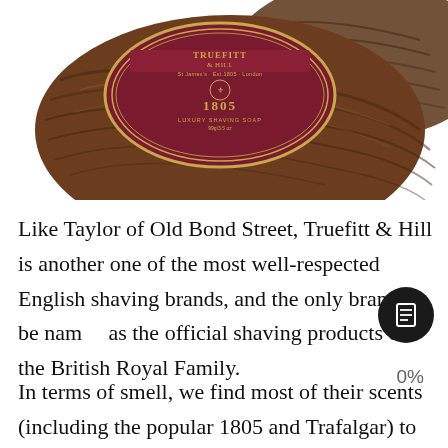[Figure (photo): A Truefitt & Hill 1805 Luxury Shaving Soap in a dark wood bowl, photographed from above at an angle. The oval wooden bowl has a rich dark walnut grain. The label on top reads TRUEFITT & HILL, St James's · Est.1805 · London, 1805 LUXURY SHAVING SOAP, with a crest emblem, on a dark maroon background with gold oval border.]
Like Taylor of Old Bond Street, Truefitt & Hill is another one of the most well-respected English shaving brands, and the only brand to be named as the official shaving products of the British Royal Family.
In terms of smell, we find most of their scents (including the popular 1805 and Trafalgar) to smell quite...